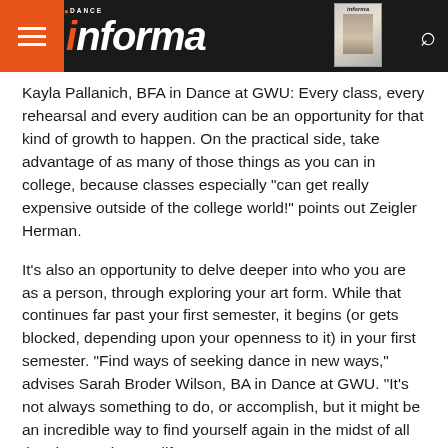Dance Informa
Kayla Pallanich, BFA in Dance at GWU: Every class, every rehearsal and every audition can be an opportunity for that kind of growth to happen. On the practical side, take advantage of as many of those things as you can in college, because classes especially “can get really expensive outside of the college world!” points out Zeigler Herman.
It’s also an opportunity to delve deeper into who you are as a person, through exploring your art form. While that continues far past your first semester, it begins (or gets blocked, depending upon your openness to it) in your first semester. “Find ways of seeking dance in new ways,” advises Sarah Broder Wilson, BA in Dance at GWU. “It’s not always something to do, or accomplish, but it might be an incredible way to find yourself again in the midst of all the changes in your life.”